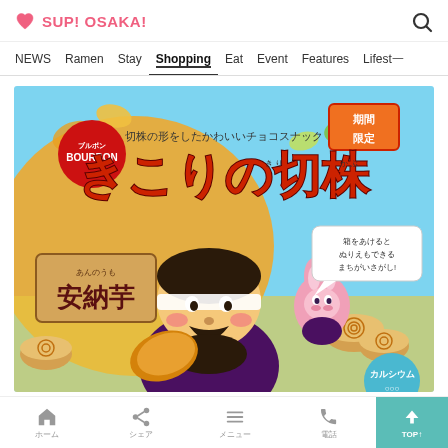SUP! OSAKA!
NEWS | Ramen | Stay | Shopping | Eat | Event | Features | Lifestyle
[Figure (photo): Bourbon Kikori no Kirikabu (woodcutter's stump) chocolate snack package featuring Annin Potato (安納芋) autumn limited edition flavor. Package shows a cartoon lumberjack character holding sweet potato, a pink rabbit character, tree stump chocolate snacks, autumn leaves, and Japanese text indicating it's a limited-time product with calcium content.]
TOP↑ (navigation toolbar with home, share, menu, phone icons)